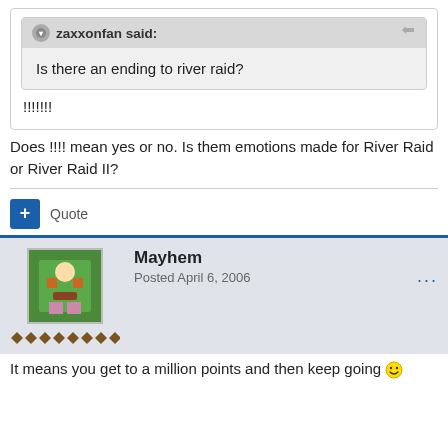zaxxonfan said:
Is there an ending to river raid?
!!!!!!
Does !!!! mean yes or no. Is them emotions made for River Raid or River Raid II?
Quote
Mayhem
Posted April 6, 2006
It means you get to a million points and then keep going